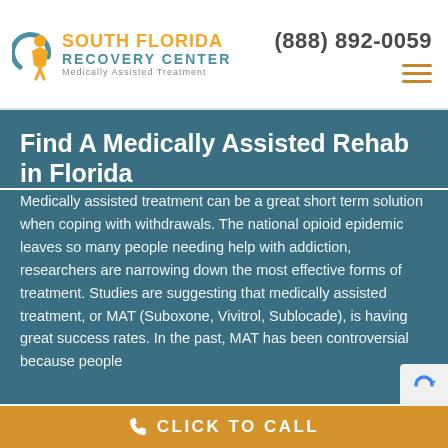South Florida Recovery Center — Medically Assisted Treatment | (888) 892-0059
Find A Medically Assisted Rehab in Florida
Medically assisted treatment can be a great short term solution when coping with withdrawals. The national opioid epidemic leaves so many people needing help with addiction, researchers are narrowing down the most effective forms of treatment. Studies are suggesting that medically assisted treatment, or MAT (Suboxone, Vivitrol, Sublocade), is having great success rates. In the past, MAT has been controversial because people
CLICK TO CALL